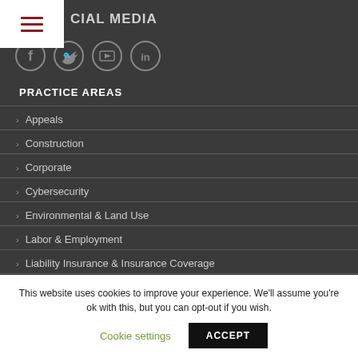[Figure (screenshot): Menu icon (hamburger) with three dark red horizontal bars on white background]
CIAL MEDIA
[Figure (infographic): Four circular social media icons: Facebook, Twitter, YouTube, LinkedIn, outlined in gray on dark background]
PRACTICE AREAS
Appeals
Construction
Corporate
Cybersecurity
Environmental & Land Use
Labor & Employment
Liability Insurance & Insurance Coverage
Litigation
This website uses cookies to improve your experience. We'll assume you're ok with this, but you can opt-out if you wish.
Cookie settings
ACCEPT